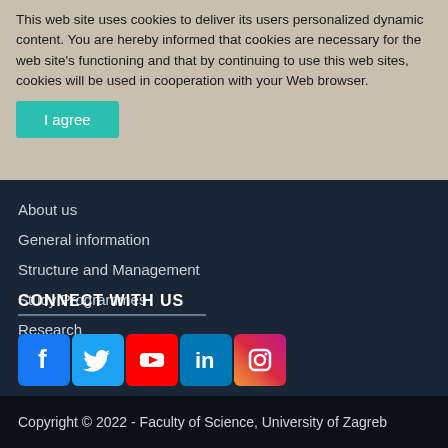This web site uses cookies to deliver its users personalized dynamic content. You are hereby informed that cookies are necessary for the web site's functioning and that by continuing to use this web site's, cookies will be used in cooperation with your Web browser.
I agree
About us
General information
Structure and Management
Study Programmes
Research
CONNECT WITH US
[Figure (infographic): Social media icons: Facebook, Twitter, YouTube, LinkedIn, Instagram]
Copyright © 2022 - Faculty of Science, University of Zagreb